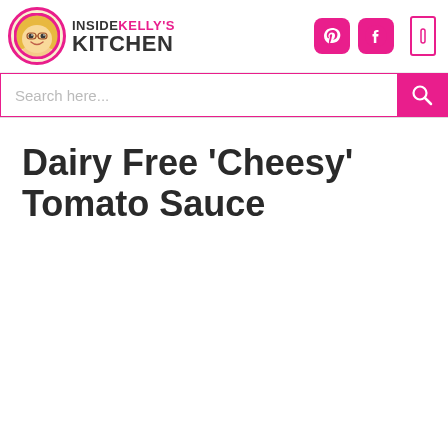[Figure (logo): Inside Kelly's Kitchen website logo with cartoon avatar of Kelly]
Dairy Free 'Cheesy' Tomato Sauce